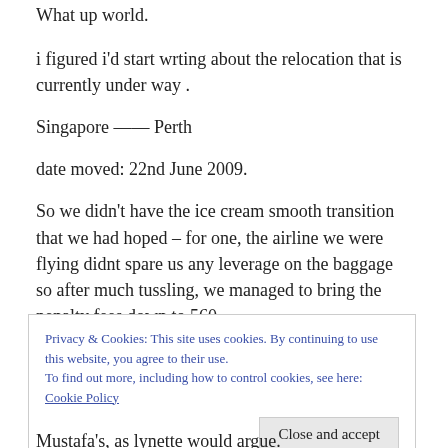What up world.
i figured i'd start wrting about the relocation that is currently under way .
Singapore —— Perth
date moved: 22nd June 2009.
So we didn't have the ice cream smooth transition that we had hoped – for one, the airline we were flying didnt spare us any leverage on the baggage so after much tussling, we managed to bring the penalty fees down to 560.
Privacy & Cookies: This site uses cookies. By continuing to use this website, you agree to their use. To find out more, including how to control cookies, see here: Cookie Policy
Mustafa's, as lynette would argue.